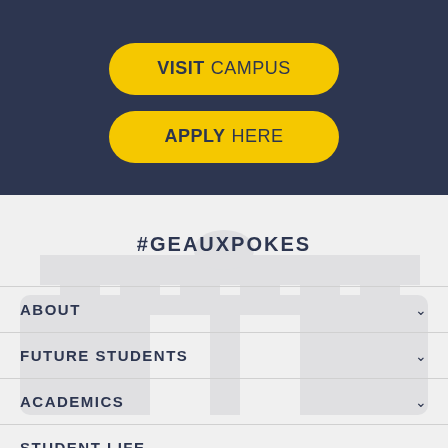[Figure (other): Yellow rounded button with bold VISIT and normal CAMPUS text on dark navy background]
[Figure (other): Yellow rounded button with bold APPLY and normal HERE text on dark navy background]
#GEAUXPOKES
ABOUT
FUTURE STUDENTS
ACADEMICS
STUDENT LIFE